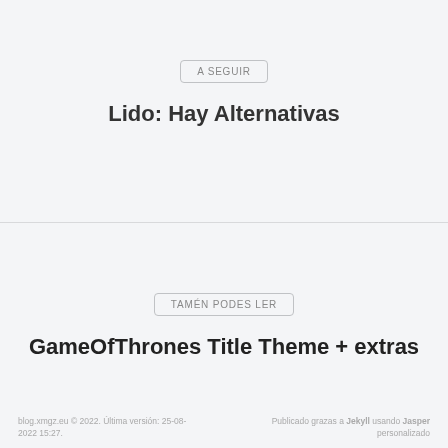A SEGUIR
Lido: Hay Alternativas
TAMÉN PODES LER
GameOfThrones Title Theme + extras
blog.xmgz.eu © 2022. Última versión: 25-08-2022 15:27.    Publicado grazas a Jekyll usando Jasper personalizado